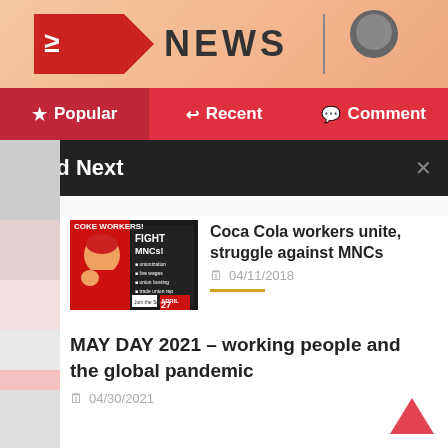[Figure (illustration): Top banner with NEWS logo and cartoon character graphic on orange/pink background]
Popular | Recent | Comment
Read Next
[Figure (illustration): Coca Cola workers FIGHT MNCs protest poster with angry worker cartoon, red background, April 27 Social Media Day of Action]
Coca Cola workers unite, struggle against MNCs
04/11/2018
MAY DAY 2021 – working people and the global pandemic
04/30/2021